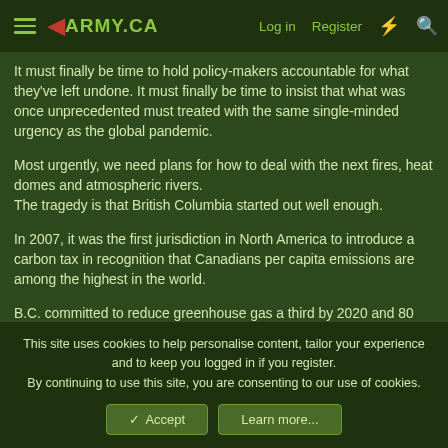◄ARMY.CA  Log in  Register
It must finally be time to hold policy-makers accountable for what they've left undone. It must finally be time to insist that what was once unprecedented must treated with the same single-minded urgency as the global pandemic.
Most urgently, we need plans for how to deal with the next fires, heat domes and atmospheric rivers.
The tragedy is that British Columbia started out well enough.
In 2007, it was the first jurisdiction in North America to introduce a carbon tax in recognition that Canadians per capita emissions are among the highest in the world.
B.C. committed to reduce greenhouse gas a third by 2020 and 80 per cent by 2050. Other promises ranged from the exemplary
This site uses cookies to help personalise content, tailor your experience and to keep you logged in if you register.
By continuing to use this site, you are consenting to our use of cookies.